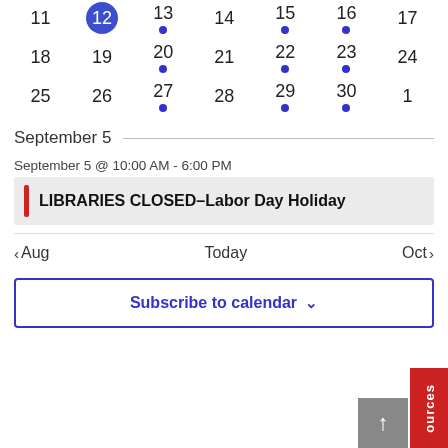[Figure (other): Calendar grid showing dates 11-30 and 1 with blue dot event indicators on dates 13, 15, 16, 20, 22, 23, 27, 29, 30]
September 5
September 5 @ 10:00 AM - 6:00 PM
LIBRARIES CLOSED–Labor Day Holiday
< Aug   Today   Oct >
Subscribe to calendar
[Figure (other): Back to top button (gray) and Resources tab (red) in bottom right corner]